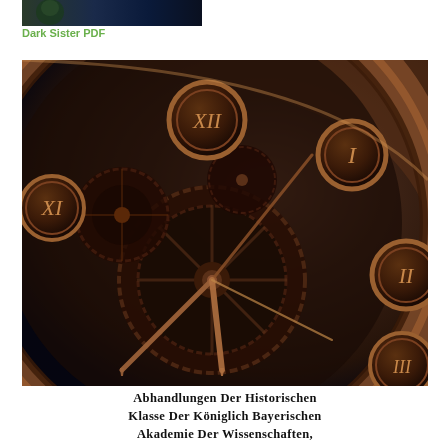[Figure (photo): Partial top image, appears to be a dark scene with a figure, cropped at the top of the page]
Dark Sister PDF
[Figure (photo): Close-up photograph of an ornate antique clock face with Roman numerals (XI, XII, I, II, III visible), copper/bronze colored gears and clock hands visible through the transparent face, dark background]
Abhandlungen Der Historischen Klasse Der Königlich Bayerischen Akademie Der Wissenschaften,